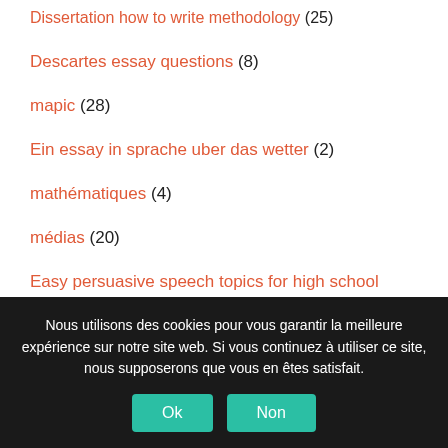Dissertation how to write methodology (25)
Descartes essay questions (8)
mapic (28)
Ein essay in sprache uber das wetter (2)
mathématiques (4)
médias (20)
Easy persuasive speech topics for high school (17)
Nous utilisons des cookies pour vous garantir la meilleure expérience sur notre site web. Si vous continuez à utiliser ce site, nous supposerons que vous en êtes satisfait.